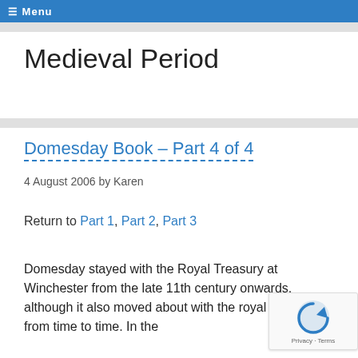☰ Menu
Medieval Period
Domesday Book – Part 4 of 4
4 August 2006 by Karen
Return to Part 1, Part 2, Part 3
Domesday stayed with the Royal Treasury at Winchester from the late 11th century onwards, although it also moved about with the royal household from time to time. In the